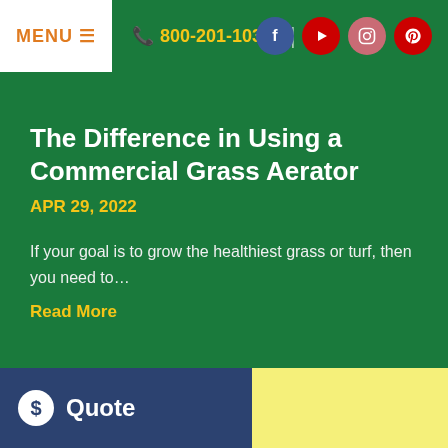MENU ≡  📞 800-201-1031  [Facebook] [YouTube] [Instagram] [Pinterest]
The Difference in Using a Commercial Grass Aerator
APR 29, 2022
If your goal is to grow the healthiest grass or turf, then you need to…
Read More
$ Quote